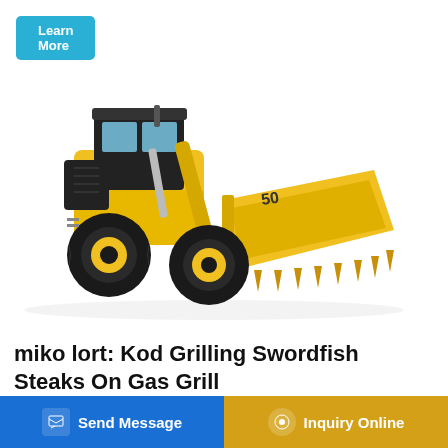Learn More
[Figure (photo): Yellow front-end wheel loader (construction machine) with large bucket, facing right, on white background. Machine has black cab and large black tires with yellow rims.]
miko lort: Kod Grilling Swordfish Steaks On Gas Grill
On sky grosjean crash 2012 belgium license has expired movie t chia, though negra vs chia blanca 2014 polaris rzr 900
Send Message
Inquiry Online